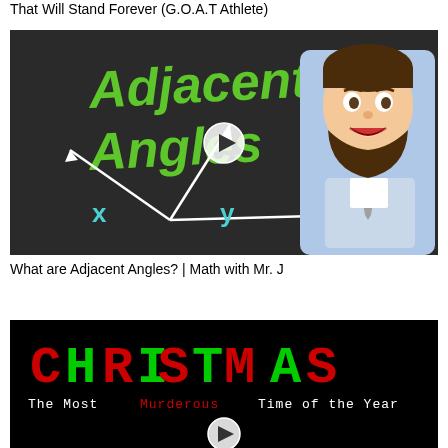That Will Stand Forever (G.O.A.T Athlete)
[Figure (screenshot): Video thumbnail for 'What are Adjacent Angles? | Math with Mr. J' showing green chalk-style text 'Adjacent Angles' on a dark chalkboard background with angle diagram showing x and y labels, and a cartoon male teacher avatar on the right. A play button is centered on the image.]
What are Adjacent Angles? | Math with Mr. J
[Figure (screenshot): Video thumbnail showing 'CHRISTMAS' in large green and red pixel/LED-style letters on black background, with subtitle text 'The Most Murderous Time of the Year' below it. A play button is visible at the bottom center.]